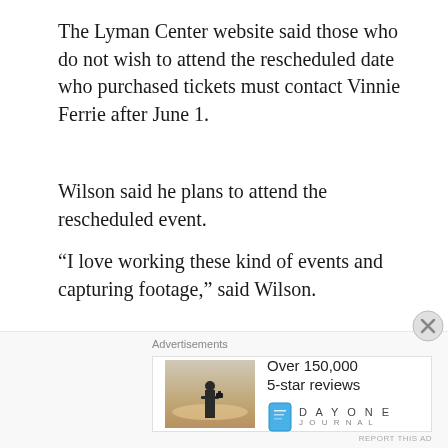The Lyman Center website said those who do not wish to attend the rescheduled date who purchased tickets must contact Vinnie Ferrie after June 1.
Wilson said he plans to attend the rescheduled event.
“I love working these kind of events and capturing footage,” said Wilson.
Advertisements
[Figure (other): Advertisement banner for an online course platform with dark background. Shows a bonsai tree icon in a white circle, headline 'Teach freely' in teal, subtext 'Make money selling online courses.']
Barjaras said she is looking forward to the rescheduling
Advertisements
[Figure (other): Advertisement for DayOne Journal app. Shows a photo of a person photographing a sunset, text 'Over 150,000 5-star reviews', and the DayOne Journal logo with a blue book icon.]